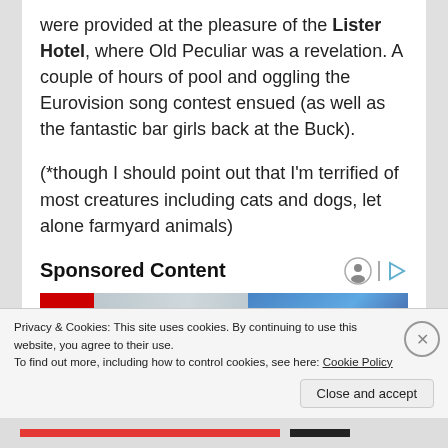were provided at the pleasure of the Lister Hotel, where Old Peculiar was a revelation. A couple of hours of pool and oggling the Eurovision song contest ensued (as well as the fantastic bar girls back at the Buck).
(*though I should point out that I'm terrified of most creatures including cats and dogs, let alone farmyard animals)
Sponsored Content
[Figure (photo): Advertisement image with red and white logo on left, person visible on right side]
Privacy & Cookies: This site uses cookies. By continuing to use this website, you agree to their use.
To find out more, including how to control cookies, see here: Cookie Policy
Close and accept